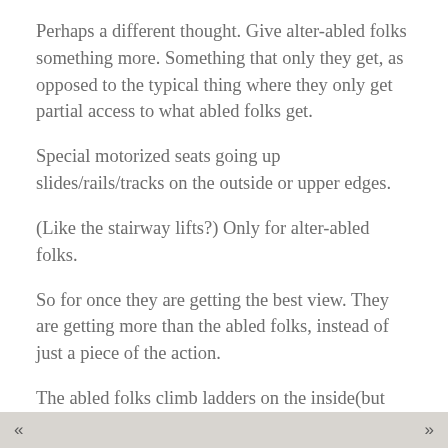Perhaps a different thought. Give alter-abled folks something more. Something that only they get, as opposed to the typical thing where they only get partial access to what abled folks get.
Special motorized seats going up slides/rails/tracks on the outside or upper edges.
(Like the stairway lifts?) Only for alter-abled folks.
So for once they are getting the best view. They are getting more than the abled folks, instead of just a piece of the action.
The abled folks climb ladders on the inside(but get less of a view).
Alter-abled folks get a 360 degree view of the playa and the man as their seats climb the spiral on a